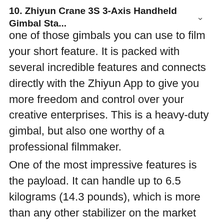10. Zhiyun Crane 3S 3-Axis Handheld Gimbal Sta... ∨
one of those gimbals you can use to film your short feature. It is packed with several incredible features and connects directly with the Zhiyun App to give you more freedom and control over your creative enterprises. This is a heavy-duty gimbal, but also one worthy of a professional filmmaker. One of the most impressive features is the payload. It can handle up to 6.5 kilograms (14.3 pounds), which is more than any other stabilizer on the market can. That means you can put a mid-size to large-size camera on it to record. The ergonomic back handle or the SmartSling handle enables you to hold the